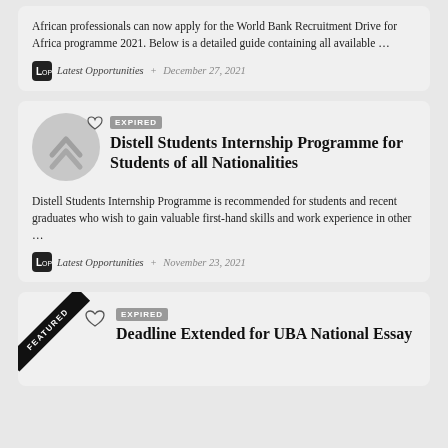African professionals can now apply for the World Bank Recruitment Drive for Africa programme 2021. Below is a detailed guide containing all available …
Latest Opportunities · December 27, 2021
EXPIRED Distell Students Internship Programme for Students of all Nationalities
Distell Students Internship Programme is recommended for students and recent graduates who wish to gain valuable first-hand skills and work experience in other …
Latest Opportunities · November 23, 2021
EXPIRED Deadline Extended for UBA National Essay